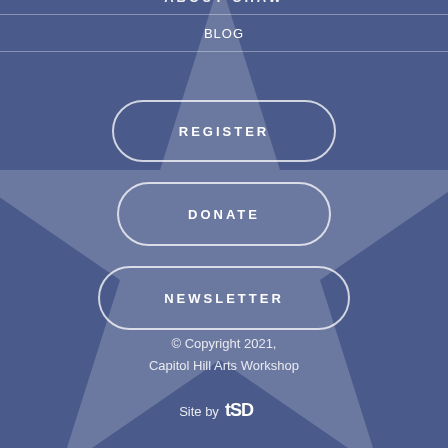ABOUT CHAW
BLOG
REGISTER
DONATE
NEWSLETTER
© Copyright 2021,
Capitol Hill Arts Workshop
Site by [TSD logo]